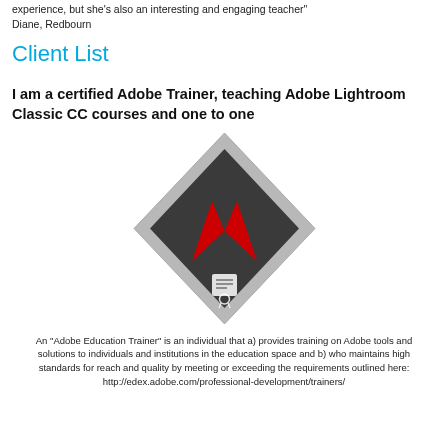experience, but she's also an interesting and engaging teacher"
Diane, Redbourn
Client List
I am a certified Adobe Trainer, teaching Adobe Lightroom Classic CC courses and one to one
[Figure (logo): Adobe Certified Trainer badge — a dark charcoal diamond shape with a silver/grey border, containing the red Adobe 'A' logo at top and a white certificate/ribbon icon below]
An "Adobe Education Trainer" is an individual that a) provides training on Adobe tools and solutions to individuals and institutions in the education space and b) who maintains high standards for reach and quality by meeting or exceeding the requirements outlined here: http://edex.adobe.com/professional-development/trainers/